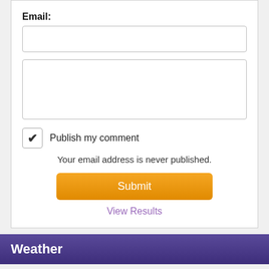Email:
[Figure (screenshot): Empty email input text field]
[Figure (screenshot): Empty textarea/comment input field]
Publish my comment
Your email address is never published.
Submit
View Results
Weather
Thompson, MB
30°C
Wind: SW 22 km/h